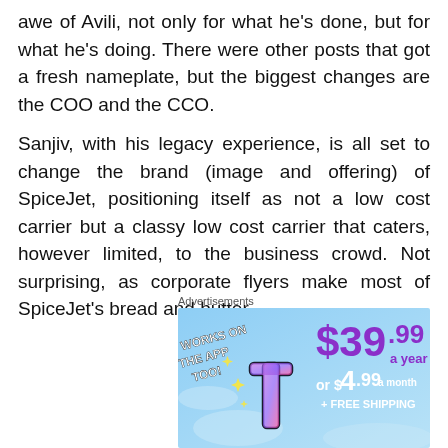awe of Avili, not only for what he's done, but for what he's doing. There were other posts that got a fresh nameplate, but the biggest changes are the COO and the CCO.
Sanjiv, with his legacy experience, is all set to change the brand (image and offering) of SpiceJet, positioning itself as not a low cost carrier but a classy low cost carrier that caters, however limited, to the business crowd. Not surprising, as corporate flyers make most of SpiceJet's bread and butter.
Advertisements
[Figure (infographic): Advertisement banner with light blue background showing Tumblr+ subscription offer: $39.99 a year or $4.99 a month + FREE SHIPPING. Text 'WORKS ON THE APP TOO!' on left side. Tumblr logo with sparkles.]